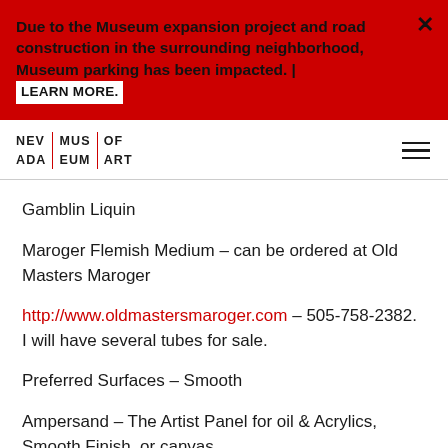Due to the Museum expansion project and road construction in the surrounding neighborhood, Museum parking has been impacted. | LEARN MORE.
[Figure (logo): Nevada Museum of Art logo in two-line grid format with red separator lines]
Gamblin Liquin
Maroger Flemish Medium – can be ordered at Old Masters Maroger
http://www.oldmastersmaroger.com – 505-758-2382.  I will have several tubes for sale.
Preferred Surfaces – Smooth
Ampersand – The Artist Panel for oil & Acrylics, Smooth Finish, or canvas